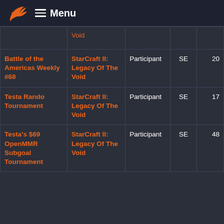Menu
| Tournament | Game | Role | Format | Participants |
| --- | --- | --- | --- | --- |
|  | StarCraft II: Legacy Of The Void |  |  |  |
| Battle of the Americas Weekly #68 | StarCraft II: Legacy Of The Void | Participant | SE | 20 |
| Testa Rando Tournament | StarCraft II: Legacy Of The Void | Participant | SE | 17 |
| Testa's $69 OpenMMR Subgoal Tournament | StarCraft II: Legacy Of The Void | Participant | SE | 48 |